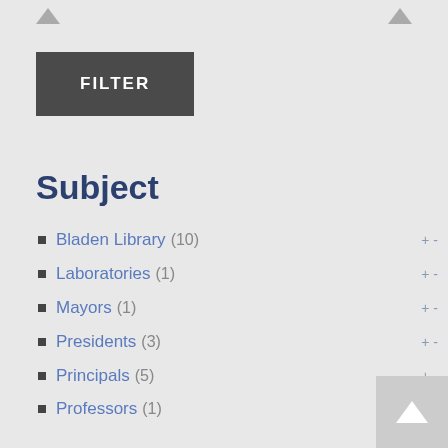FILTER
Subject
Bladen Library (10)
Laboratories (1)
Mayors (1)
Presidents (3)
Principals (5)
Professors (1)
Students (1)
Theatre (3)
Collection
UTSC Archives Legacy Collection (26)
Genre